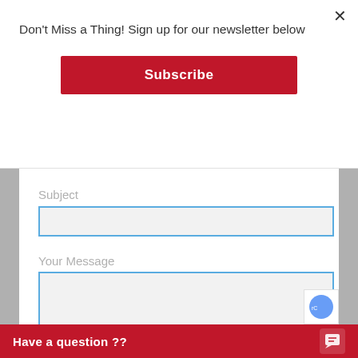Don't Miss a Thing! Sign up for our newsletter below
Subscribe
Subject
Your Message
Have a question ??